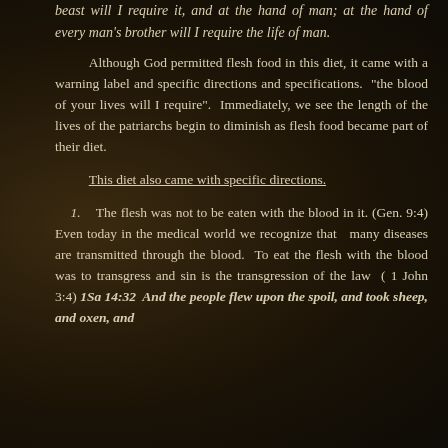beast will I require it, and at the hand of man; at the hand of every man's brother will I require the life of man.
Although God permitted flesh food in this diet, it came with a warning label and specific directions and specifications.  "the blood of your lives will I require".  Immediately, we see the length of the lives of the patriarchs begin to diminish as flesh food became part of their diet.
This diet also came with specific directions.
1.    The flesh was not to be eaten with the blood in it. (Gen. 9:4) Even today in the medical world we recognize that  many diseases are transmitted through the blood.  To eat the flesh with the blood was to transgress and sin is the transgression of the law  ( 1 John 3:4) 1Sa 14:32  And the people flew upon the spoil, and took sheep, and oxen, and